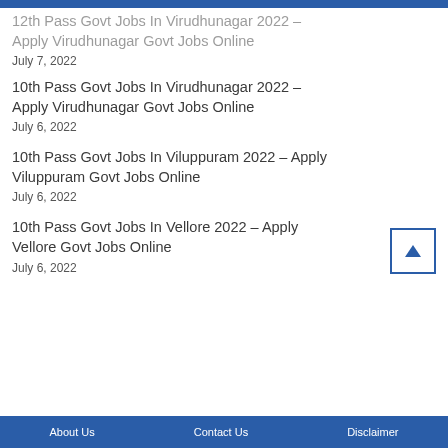12th Pass Govt Jobs In Virudhunagar 2022 – Apply Virudhunagar Govt Jobs Online
July 7, 2022
10th Pass Govt Jobs In Virudhunagar 2022 – Apply Virudhunagar Govt Jobs Online
July 6, 2022
10th Pass Govt Jobs In Viluppuram 2022 – Apply Viluppuram Govt Jobs Online
July 6, 2022
10th Pass Govt Jobs In Vellore 2022 – Apply Vellore Govt Jobs Online
July 6, 2022
About Us   Contact Us   Disclaimer